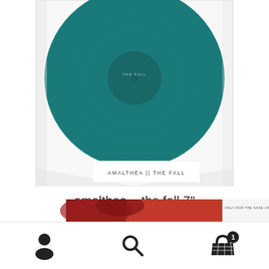[Figure (photo): A teal/dark cyan colored vinyl record in a clear plastic sleeve. A white label on the sleeve reads 'AMALTHEA || THE FALL' in small caps.]
amalthea – the fall 7"
€4,20
Add to basket
[Figure (photo): Partial view of another product with red artwork; text reads 'ONLY FOR THE SAKE OF ACHING']
Navigation bar with user icon, search icon, and basket icon with badge showing 1